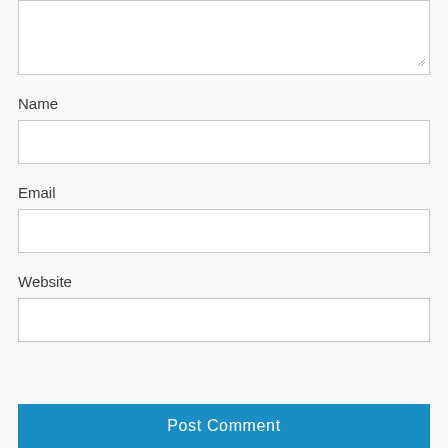[Figure (screenshot): Partial textarea input box at top of page, partially visible, with resize handle at bottom-right corner]
Name
[Figure (screenshot): Empty text input field for Name]
Email
[Figure (screenshot): Empty text input field for Email]
Website
[Figure (screenshot): Empty text input field for Website]
Post Comment